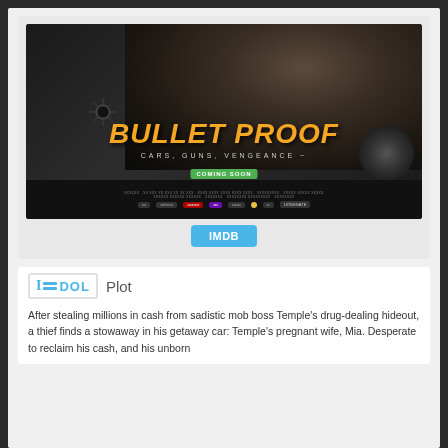[Figure (photo): Movie poster for 'Bullet Proof' showing a man's face in profile holding a gun, with text 'BULLET PROOF - CARS, GUNS, VENGEANCE' and a bullet hole graphic. Coming soon banner and distributor logos at bottom.]
IMDB
Plot
After stealing millions in cash from sadistic mob boss Temple's drug-dealing hideout, a thief finds a stowaway in his getaway car: Temple's pregnant wife, Mia. Desperate to reclaim his cash, and his unborn